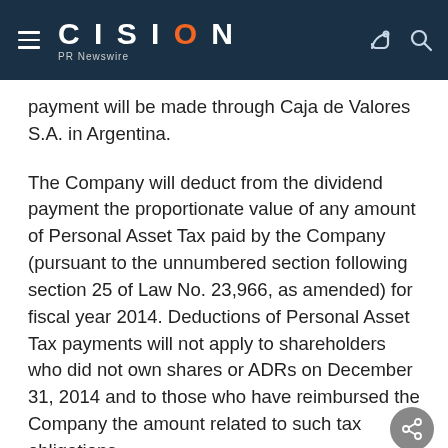CISION PR Newswire
payment will be made through Caja de Valores S.A. in Argentina.
The Company will deduct from the dividend payment the proportionate value of any amount of Personal Asset Tax paid by the Company (pursuant to the unnumbered section following section 25 of Law No. 23,966, as amended) for fiscal year 2014. Deductions of Personal Asset Tax payments will not apply to shareholders who did not own shares or ADRs on December 31, 2014 and to those who have reimbursed the Company the amount related to such tax obligations.